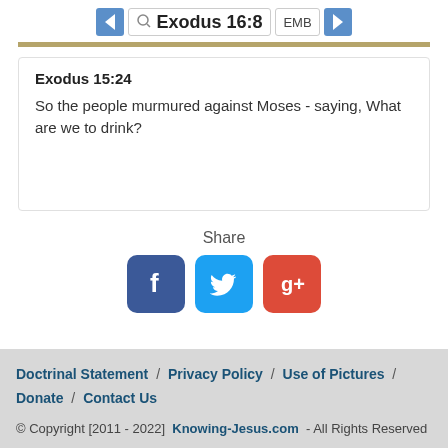Exodus 16:8
Exodus 15:24
So the people murmured against Moses - saying, What are we to drink?
Share
[Figure (other): Social share buttons: Facebook, Twitter, Google+]
Doctrinal Statement / Privacy Policy / Use of Pictures / Donate / Contact Us
© Copyright [2011 - 2022]  Knowing-Jesus.com  - All Rights Reserved